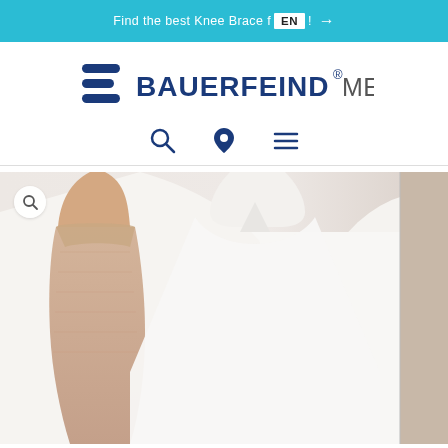Find the best Knee Brace f... EN ...! →
[Figure (logo): Bauerfeind Medical logo with stylized 'B' icon in dark blue and text 'BAUERFEIND® MEDICAL']
[Figure (illustration): Navigation icons: search magnifying glass, location pin, and hamburger menu in dark blue]
[Figure (photo): Person wearing a beige/skin-tone compression arm sleeve on their upper arm, wearing a white sleeveless top, photographed from the side showing torso and arm. A second partially visible image on the right edge.]